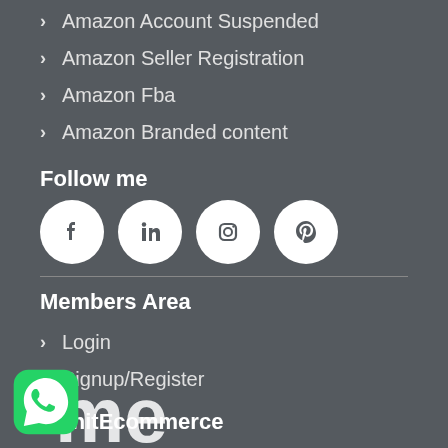Amazon Account Suspended
Amazon Seller Registration
Amazon Fba
Amazon Branded content
Follow me
[Figure (illustration): Four social media icons in white circles: Facebook, LinkedIn, Instagram, Pinterest]
Members Area
Login
Signup/Register
MohitEcommerce
[Figure (logo): MohitEcommerce 'me' logo in white, and a WhatsApp button icon (green circle with phone)]